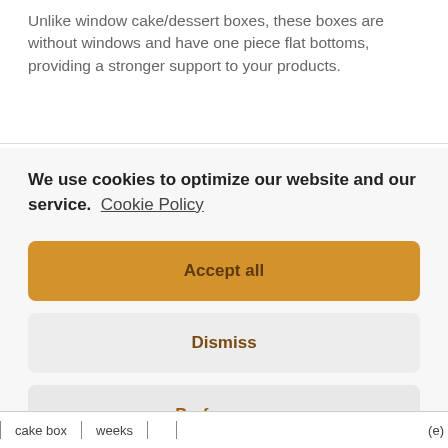Unlike window cake/dessert boxes, these boxes are without windows and have one piece flat bottoms, providing a stronger support to your products.
We use cookies to optimize our website and our service. Cookie Policy
Accept all
Dismiss
Preferences
cake box | weeks | (e)